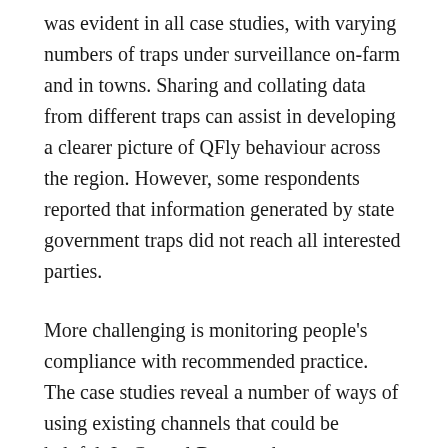was evident in all case studies, with varying numbers of traps under surveillance on-farm and in towns. Sharing and collating data from different traps can assist in developing a clearer picture of QFly behaviour across the region. However, some respondents reported that information generated by state government traps did not reach all interested parties.
More challenging is monitoring people's compliance with recommended practice. The case studies reveal a number of ways of using existing channels that could be helpful. In Central Burnett, the crop consultants' visits to farms give a good insight into compliance levels. In the Riverina, some packhouses insist on proof of QFly management. Some believed that other reluctant packhouses might follow suit if QFly pressure...